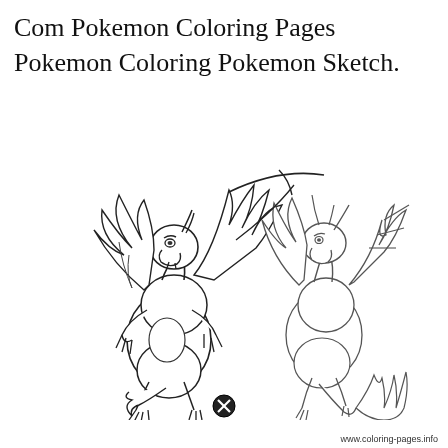Com Pokemon Coloring Pages Pokemon Coloring Pokemon Sketch.
[Figure (illustration): Line drawing / coloring page of Mega Charizard X and Y (two Charizard forms side by side), shown as black outlines on white background. The left Charizard is in a standing pose with wings spread and claws raised; the right Charizard is shown in a dynamic pose with flame tail. Both are uncolored sketch-style illustrations suitable for a coloring page. A circular close/remove icon (circled X) appears at the bottom center.]
www.coloring-pages.info